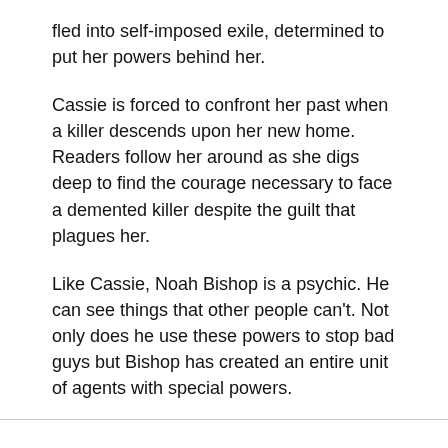fled into self-imposed exile, determined to put her powers behind her.
Cassie is forced to confront her past when a killer descends upon her new home. Readers follow her around as she digs deep to find the courage necessary to face a demented killer despite the guilt that plagues her.
Like Cassie, Noah Bishop is a psychic. He can see things that other people can't. Not only does he use these powers to stop bad guys but Bishop has created an entire unit of agents with special powers.